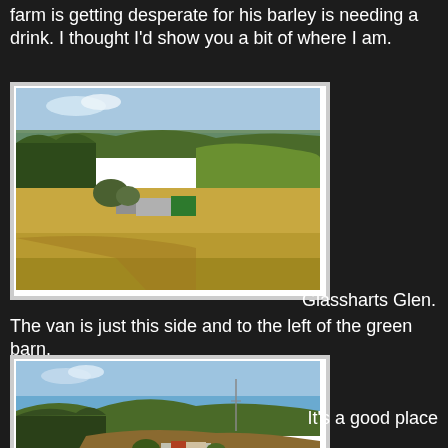farm is getting desperate for his barley is needing a drink. I thought I'd show you a bit of where I am.
[Figure (photo): Aerial/landscape view of Glassharts Glen showing rolling hills, green fields, conifer forest, farm buildings including a green barn, and open farmland.]
Glassharts Glen. The van is just this side and to the left of the green barn.
[Figure (photo): Wide landscape view of farmland with rolling hills, ploughed fields, scattered trees, farm buildings, and a communications mast visible on the hilltop under blue sky.]
It's a good place